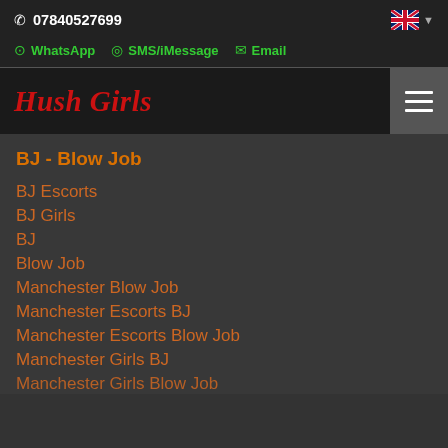07840527699
WhatsApp  SMS/iMessage  Email
Hush Girls
BJ - Blow Job
BJ Escorts
BJ Girls
BJ
Blow Job
Manchester Blow Job
Manchester Escorts BJ
Manchester Escorts Blow Job
Manchester Girls BJ
Manchester Girls Blow Job